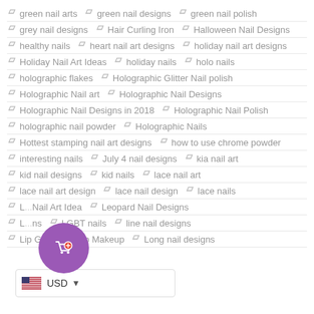green nail arts
green nail designs
green nail polish
grey nail designs
Hair Curling Iron
Halloween Nail Designs
healthy nails
heart nail art designs
holiday nail art designs
Holiday Nail Art Ideas
holiday nails
holo nails
holographic flakes
Holographic Glitter Nail polish
Holographic Nail art
Holographic Nail Designs
Holographic Nail Designs in 2018
Holographic Nail Polish
holographic nail powder
Holographic Nails
Hottest stamping nail art designs
how to use chrome powder
interesting nails
July 4 nail designs
kia nail art
kid nail designs
kid nails
lace nail art
lace nail art design
lace nail design
lace nails
L... Nail Art Idea
Leopard Nail Designs
L...ns
LGBT nails
line nail designs
Lip Gloss
Lip Makeup
Long nail designs